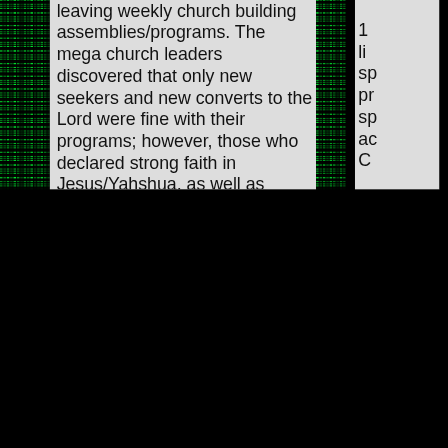leaving weekly church building assemblies/programs. The mega church leaders discovered that only new seekers and new converts to the Lord were fine with their programs; however, those who declared strong faith in Jesus/Yahshua, as well as those declaring Him to be the absolute authority and center of their lives, were not satisfied or blessed to just do the church thing. They've realized that they are the 'Church" and want to "be" the Church 24/7, not follow a spiritually retarded program among those content to remain Biblically illiterate.
In Conclusion....
I'm understanding more and
1 li sp pr sp ac C H ne co fe w ur Th ag W ab ur